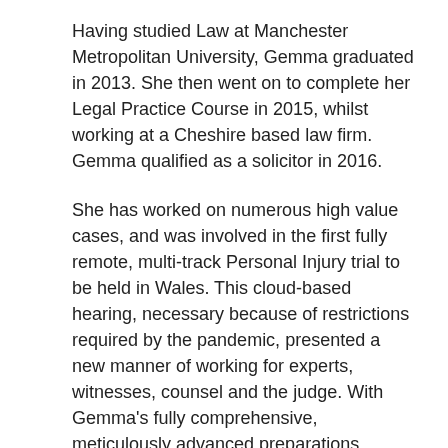Having studied Law at Manchester Metropolitan University, Gemma graduated in 2013. She then went on to complete her Legal Practice Course in 2015, whilst working at a Cheshire based law firm. Gemma qualified as a solicitor in 2016.
She has worked on numerous high value cases, and was involved in the first fully remote, multi-track Personal Injury trial to be held in Wales. This cloud-based hearing, necessary because of restrictions required by the pandemic, presented a new manner of working for experts, witnesses, counsel and the judge. With Gemma's fully comprehensive, meticulously advanced preparations, despite a fully denied case, the trial concluded in favour of the claimant.
Gemma has significant depth and breadth of